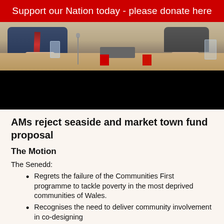Support our Nation today - please donate here
[Figure (photo): People seated at a formal meeting table with microphones, water glasses, and documents. The lower portion of the image is dark/black.]
AMs reject seaside and market town fund proposal
The Motion
The Senedd:
Regrets the failure of the Communities First programme to tackle poverty in the most deprived communities of Wales.
Recognises the need to deliver community involvement in co-designing